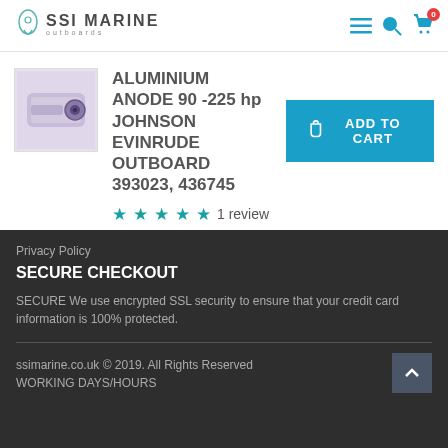SSI MARINE outboards
ALUMINIUM ANODE 90 -225 hp JOHNSON EVINRUDE OUTBOARD 393023, 436745
★★★★★ 1 review
ADD TO CART
Privacy Policy
SECURE CHECKOUT
SECURE We use encrypted SSL security to ensure that your credit card information is 100% protected.
ssimarine.co.uk © 2019. All Rights Reserved
WORKING DAYS/HOURS